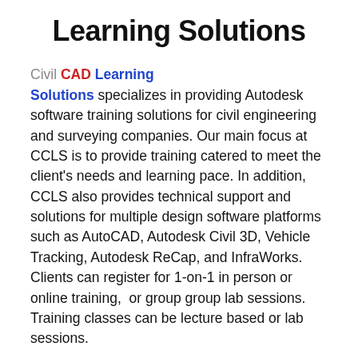Learning Solutions
Civil CAD Learning Solutions specializes in providing Autodesk software training solutions for civil engineering and surveying companies. Our main focus at CCLS is to provide training catered to meet the client's needs and learning pace. In addition, CCLS also provides technical support and solutions for multiple design software platforms such as AutoCAD, Autodesk Civil 3D, Vehicle Tracking, Autodesk ReCap, and InfraWorks. Clients can register for 1-on-1 in person or online training,  or group group lab sessions.  Training classes can be lecture based or lab sessions.
In addition to providing training and technical support, CCLS also provides